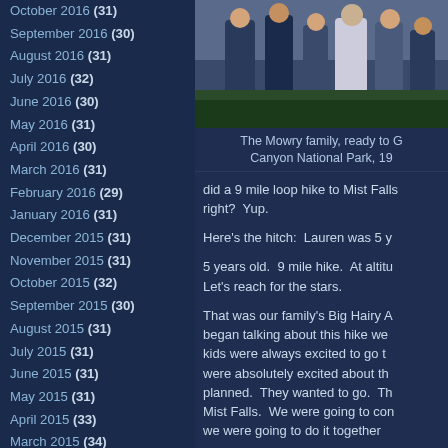October 2016 (31)
September 2016 (30)
August 2016 (31)
July 2016 (32)
June 2016 (30)
May 2016 (31)
April 2016 (30)
March 2016 (31)
February 2016 (29)
January 2016 (31)
December 2015 (31)
November 2015 (31)
October 2015 (32)
September 2015 (30)
August 2015 (31)
July 2015 (31)
June 2015 (31)
May 2015 (31)
April 2015 (33)
March 2015 (34)
February 2015 (29)
[Figure (photo): The Mowry family outdoors, group photo]
The Mowry family, ready to Go Canyon National Park, 19
did a 9 mile loop hike to Mist Falls right?  Yup.
Here’s the hitch:  Lauren was 5 y
5 years old.  9 mile hike.  At altitu Let’s reach for the stars.
That was our family’s Big Hairy A began talking about this hike we kids were always excited to go t were absolutely excited about th planned.  They wanted to go.  Th Mist Falls.  We were going to con we were going to do it together
The morning went great.  The fo trail very well maintained, the Kin splashing merrily along with snow gorgeous hike.  We had lunchon